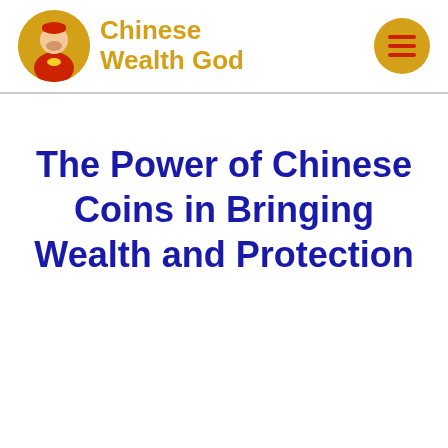Chinese Wealth God
The Power of Chinese Coins in Bringing Wealth and Protection